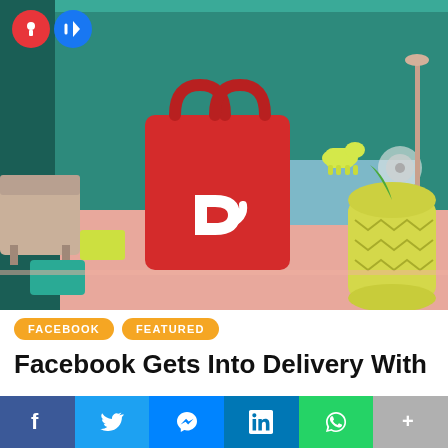[Figure (photo): A red DoorDash delivery bag sitting on a pink table in a colorful room with teal walls, yellow decorative dog figurine, vases, and a lamp in the background]
FACEBOOK
FEATURED
Facebook Gets Into Delivery With
Share bar with Facebook, Twitter, Messenger, LinkedIn, WhatsApp, More